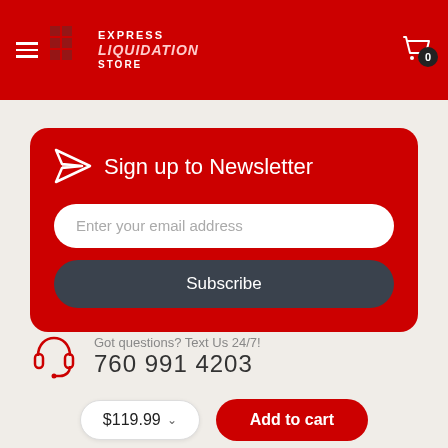Express Liquidation Store
Sign up to Newsletter
Enter your email address
Subscribe
Got questions? Text Us 24/7!
760 991 4203
Contact Us ordercustomercareservicereply@email.com
Location Mailing & Returns 16155 Sierra Lakes Parkway
$119.99
Add to cart